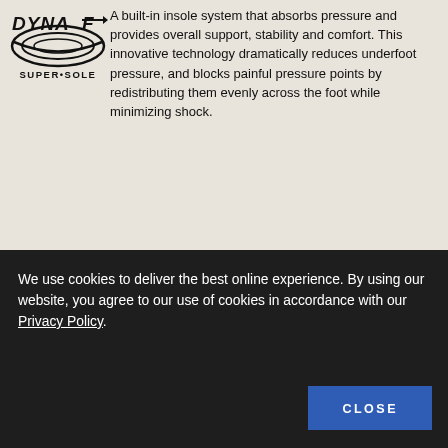[Figure (logo): DynaF logo — stylized 'DYNA' text with a curved swoosh beneath, in black]
A built-in insole system that absorbs pressure and provides overall support, stability and comfort. This innovative technology dramatically reduces underfoot pressure, and blocks painful pressure points by redistributing them evenly across the foot while minimizing shock.
[Figure (logo): SUPER-SOLE logo — oval ellipse with inner lines and 'SUPER•SOLE' text below, in black]
SUPERSOLE
Single density urethane sole designed to provide durability and comfort. It delivers performance factors of abrasion resistance, cut resistance, traction, and oil and chemical resistance.
COMFORTFORCE
We use cookies to deliver the best online experience. By using our website, you agree to our use of cookies in accordance with our Privacy Policy.